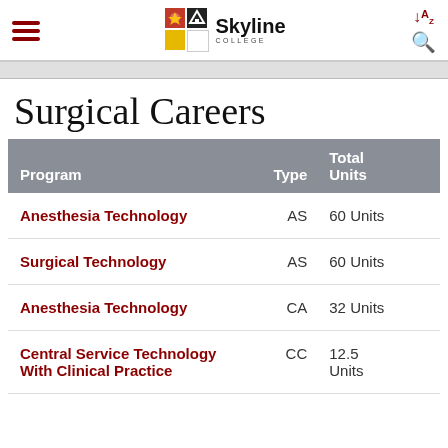Skyline College
Surgical Careers
| Program | Type | Total Units |
| --- | --- | --- |
| Anesthesia Technology | AS | 60 Units |
| Surgical Technology | AS | 60 Units |
| Anesthesia Technology | CA | 32 Units |
| Central Service Technology With Clinical Practice | CC | 12.5 Units |